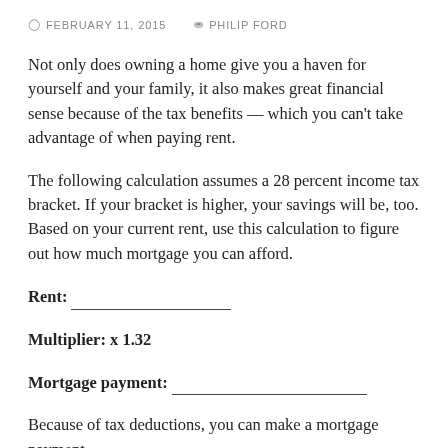FEBRUARY 11, 2015   PHILIP FORD
Not only does owning a home give you a haven for yourself and your family, it also makes great financial sense because of the tax benefits — which you can't take advantage of when paying rent.
The following calculation assumes a 28 percent income tax bracket. If your bracket is higher, your savings will be, too. Based on your current rent, use this calculation to figure out how much mortgage you can afford.
Rent: ___________________
Multiplier: x 1.32
Mortgage payment: ___________________
Because of tax deductions, you can make a mortgage payment